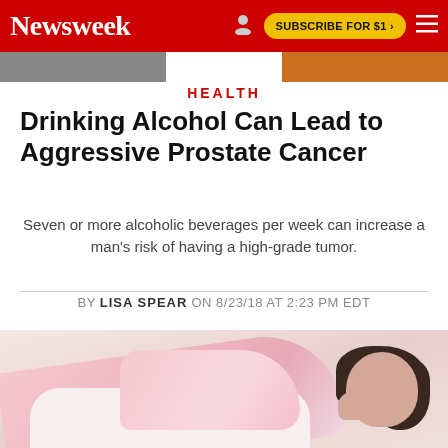Newsweek
HEALTH
Drinking Alcohol Can Lead to Aggressive Prostate Cancer
Seven or more alcoholic beverages per week can increase a man's risk of having a high-grade tumor.
BY LISA SPEAR ON 8/23/18 AT 2:23 PM EDT
[Figure (photo): Woman sleeping, lying in bed with pink blanket and pillow, dark hair, face resting on arm]